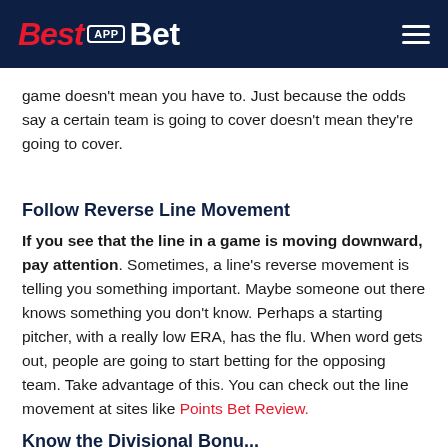BestAppBet
game doesn't mean you have to. Just because the odds say a certain team is going to cover doesn't mean they're going to cover.
Follow Reverse Line Movement
If you see that the line in a game is moving downward, pay attention. Sometimes, a line's reverse movement is telling you something important. Maybe someone out there knows something you don't know. Perhaps a starting pitcher, with a really low ERA, has the flu. When word gets out, people are going to start betting for the opposing team. Take advantage of this. You can check out the line movement at sites like Points Bet Review.
Know the Divisional Bonu... There Can Be a...